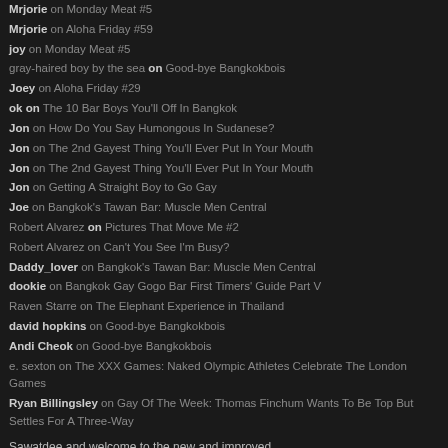Mrjorie on Monday Meat #5
Mrjorie on Aloha Friday #59
joy on Monday Meat #5
gray-haired boy by the sea on Good-bye Bangkokbois
Joey on Aloha Friday #29
ok on The 10 Bar Boys You'll Off In Bangkok
Jon on How Do You Say Humongous In Sudanese?
Jon on The 2nd Gayest Thing You'll Ever Put In Your Mouth
Jon on The 2nd Gayest Thing You'll Ever Put In Your Mouth
Jon on Getting A Straight Boy to Go Gay
Joe on Bangkok's Tawan Bar: Muscle Men Central
Robert Alvarez on Pictures That Move Me #2
Robert Alvarez on Can't You See I'm Busy?
Daddy_lover on Bangkok's Tawan Bar: Muscle Men Central
dookie on Bangkok Gay Gogo Bar First Timers' Guide Part V
Raven Starre on The Elephant Experience in Thailand
david hopkins on Good-bye Bangkokbois
Andi Cheok on Good-bye Bangkokbois
e. sexton on The XXX Games: Naked Olympic Athletes Celebrate The London Games
Ryan Billingsley on Gay Of The Week: Thomas Finchum Wants To Be Top But Settles For A Three-Way
Sawatdee and welcome to the new and improved